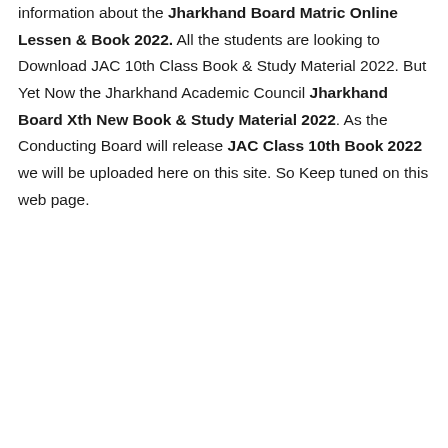information about the Jharkhand Board Matric Online Lessen & Book 2022. All the students are looking to Download JAC 10th Class Book & Study Material 2022. But Yet Now the Jharkhand Academic Council Jharkhand Board Xth New Book & Study Material 2022. As the Conducting Board will release JAC Class 10th Book 2022 we will be uploaded here on this site. So Keep tuned on this web page.